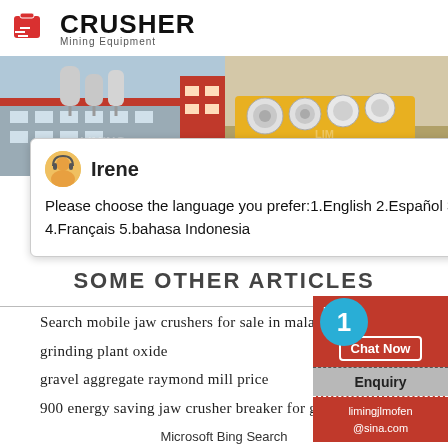[Figure (logo): Crusher Mining Equipment logo with red shopping bag icon and bold CRUSHER text]
[Figure (photo): Two industrial photos side by side: left shows factory building with dust collectors, right shows yellow heavy mining equipment on a flatbed]
24Hrs Online
Irene
Please choose the language you prefer:1.English 2.Español 3.русский 4.Français 5.bahasa Indonesia
SOME OTHER ARTICLES
Search mobile jaw crushers for sale in malays
grinding plant oxide
gravel aggregate raymond mill price
900 energy saving jaw crusher breaker for gr
Microsoft Bing Search
Need
& sug
Chat Now
1
Enquiry
limingjlmofen@sina.com